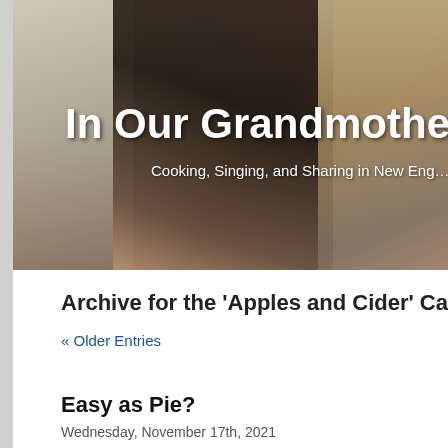[Figure (photo): Blog header banner photo showing a woman in a red apron holding up a bottle in a kitchen with blue-and-white toile wallpaper. White text overlaid reads 'In Our Grandmothe' (truncated) and subtitle 'Cooking, Singing, and Sharing in New Eng' (truncated).]
In Our Grandmothe…
Cooking, Singing, and Sharing in New Eng…
Archive for the 'Apples and Cider' Catego…
« Older Entries
Easy as Pie?
Wednesday, November 17th, 2021
[Figure (photo): Bottom portion of a blog post photo showing kitchen counter with various items including what appears to be a dark object in the foreground, yellow cabinetry, and various kitchen items in the background.]